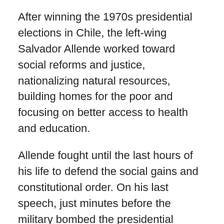After winning the 1970s presidential elections in Chile, the left-wing Salvador Allende worked toward social reforms and justice, nationalizing natural resources, building homes for the poor and focusing on better access to health and education.
Allende fought until the last hours of his life to defend the social gains and constitutional order. On his last speech, just minutes before the military bombed the presidential palace, he gave Chileans one last message of hope.
“I will not resign. Placed in a historic transition, I will pay the loyalty of the people with my life. And I tell them I have the certainty that the seed that we have planted in the dignified conscience of thousands and thousands of Chileans will not be shriveled. You have the power, they can destroy us, but social progress